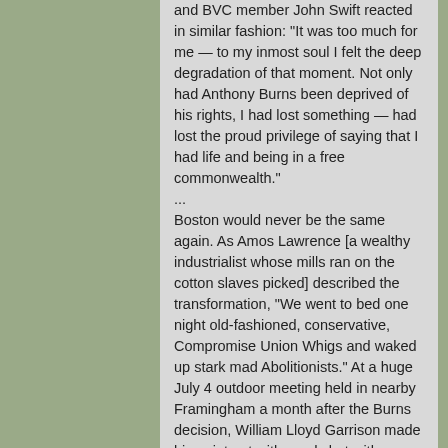and BVC member John Swift reacted in similar fashion: "It was too much for me — to my inmost soul I felt the deep degradation of that moment. Not only had Anthony Burns been deprived of his rights, I had lost something — had lost the proud privilege of saying that I had life and being in a free commonwealth."
...
Boston would never be the same again. As Amos Lawrence [a wealthy industrialist whose mills ran on the cotton slaves picked] described the transformation, "We went to bed one night old-fashioned, conservative, Compromise Union Whigs and waked up stark mad Abolitionists." At a huge July 4 outdoor meeting held in nearby Framingham a month after the Burns decision, William Lloyd Garrison made his point not with words but with flames.